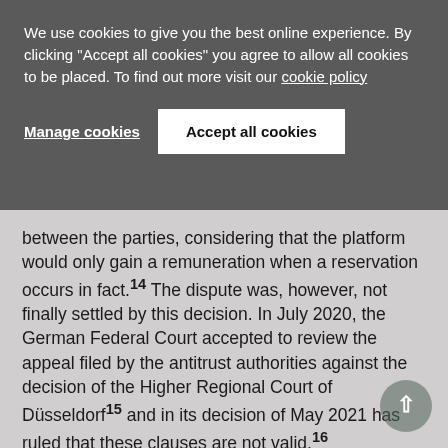We use cookies to give you the best online experience. By clicking "Accept all cookies" you agree to allow all cookies to be placed. To find out more visit our cookie policy
Manage cookies
Accept all cookies
between the parties, considering that the platform would only gain a remuneration when a reservation occurs in fact.14 The dispute was, however, not finally settled by this decision. In July 2020, the German Federal Court accepted to review the appeal filed by the antitrust authorities against the decision of the Higher Regional Court of Düsseldorf15 and in its decision of May 2021 has ruled that these clauses are not valid.16